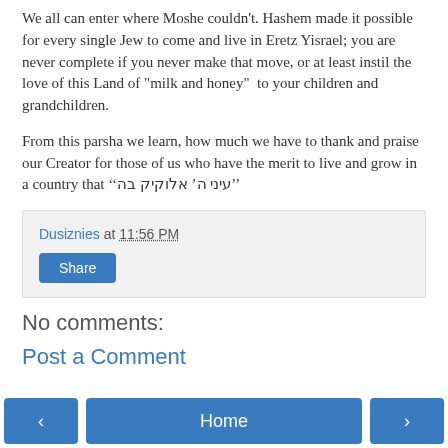We all can enter where Moshe couldn't. Hashem made it possible for every single Jew to come and live in Eretz Yisrael; you are never complete if you never make that move, or at least instil the love of this Land of "milk and honey"  to your children and grandchildren.
From this parsha we learn, how much we have to thank and praise our Creator for those of us who have the merit to live and grow in a country that ‘‘עיני ה’ אלוקיק בה’’
Dusiznies at 11:56 PM
Share
No comments:
Post a Comment
‹
Home
›